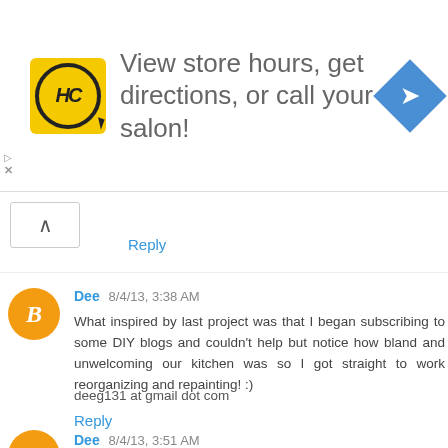[Figure (other): Advertisement banner: HC logo (yellow circle with HC text), text 'View store hours, get directions, or call your salon!', and blue diamond navigation icon]
Reply
Dee 8/4/13, 3:38 AM
What inspired by last project was that I began subscribing to some DIY blogs and couldn't help but notice how bland and unwelcoming our kitchen was so I got straight to work reorganizing and repainting! :)
deeg131 at gmail dot com
Reply
Dee 8/4/13, 3:51 AM
tweeted!